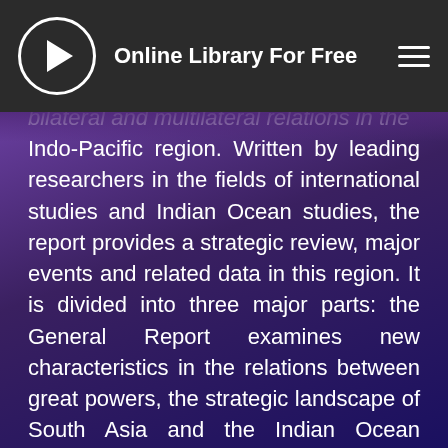Online Library For Free
bilateral and multilateral relations in the Indo-Pacific region. Written by leading researchers in the fields of international studies and Indian Ocean studies, the report provides a strategic review, major events and related data in this region. It is divided into three major parts: the General Report examines new characteristics in the relations between great powers, the strategic landscape of South Asia and the Indian Ocean region, and strategic competition and multilateral relations in the Indo-Pacific region. The second part explores current bilateral relations: India-Myanmar, Sino-